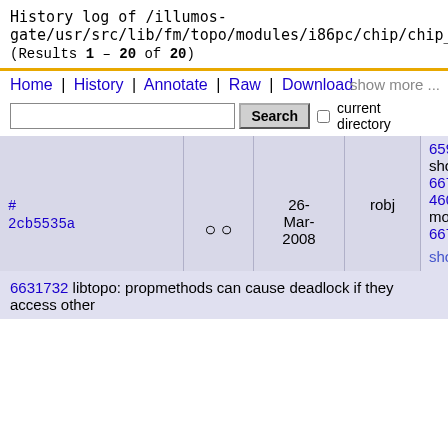History log of /illumos-gate/usr/src/lib/fm/topo/modules/i86pc/chip/chip_amd.c (Results 1 – 20 of 20)
Home | History | Annotate | Raw | Download | show more ...
| hash | radio | date | author | description |
| --- | --- | --- | --- | --- |
| # 2cb5535a | ○ ○ | 26-Mar-2008 | robj | 6595380 topology for Sun x64 platforms should include serial numbers for dimms 6671247 missing DIMM FRU labels on 4600/4600M2 platforms with family 15 modules 6672188 chip FRU labels computed show more ... |
6631732 libtopo: propmethods can cause deadlock if they access other